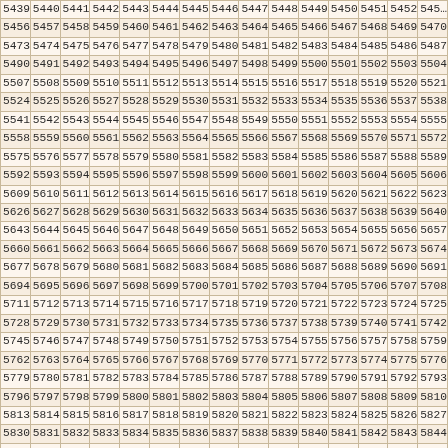| 5439 | 5440 | 5441 | 5442 | 5443 | 5444 | 5445 | 5446 | 5447 | 5448 | 5449 | 5450 | 5451 | 5452 | 545… |
| 5456 | 5457 | 5458 | 5459 | 5460 | 5461 | 5462 | 5463 | 5464 | 5465 | 5466 | 5467 | 5468 | 5469 | 5470 |
| 5473 | 5474 | 5475 | 5476 | 5477 | 5478 | 5479 | 5480 | 5481 | 5482 | 5483 | 5484 | 5485 | 5486 | 5487 |
| 5490 | 5491 | 5492 | 5493 | 5494 | 5495 | 5496 | 5497 | 5498 | 5499 | 5500 | 5501 | 5502 | 5503 | 5504 |
| 5507 | 5508 | 5509 | 5510 | 5511 | 5512 | 5513 | 5514 | 5515 | 5516 | 5517 | 5518 | 5519 | 5520 | 5521 |
| 5524 | 5525 | 5526 | 5527 | 5528 | 5529 | 5530 | 5531 | 5532 | 5533 | 5534 | 5535 | 5536 | 5537 | 5538 |
| 5541 | 5542 | 5543 | 5544 | 5545 | 5546 | 5547 | 5548 | 5549 | 5550 | 5551 | 5552 | 5553 | 5554 | 5555 |
| 5558 | 5559 | 5560 | 5561 | 5562 | 5563 | 5564 | 5565 | 5566 | 5567 | 5568 | 5569 | 5570 | 5571 | 5572 |
| 5575 | 5576 | 5577 | 5578 | 5579 | 5580 | 5581 | 5582 | 5583 | 5584 | 5585 | 5586 | 5587 | 5588 | 5589 |
| 5592 | 5593 | 5594 | 5595 | 5596 | 5597 | 5598 | 5599 | 5600 | 5601 | 5602 | 5603 | 5604 | 5605 | 5606 |
| 5609 | 5610 | 5611 | 5612 | 5613 | 5614 | 5615 | 5616 | 5617 | 5618 | 5619 | 5620 | 5621 | 5622 | 5623 |
| 5626 | 5627 | 5628 | 5629 | 5630 | 5631 | 5632 | 5633 | 5634 | 5635 | 5636 | 5637 | 5638 | 5639 | 5640 |
| 5643 | 5644 | 5645 | 5646 | 5647 | 5648 | 5649 | 5650 | 5651 | 5652 | 5653 | 5654 | 5655 | 5656 | 5657 |
| 5660 | 5661 | 5662 | 5663 | 5664 | 5665 | 5666 | 5667 | 5668 | 5669 | 5670 | 5671 | 5672 | 5673 | 5674 |
| 5677 | 5678 | 5679 | 5680 | 5681 | 5682 | 5683 | 5684 | 5685 | 5686 | 5687 | 5688 | 5689 | 5690 | 5691 |
| 5694 | 5695 | 5696 | 5697 | 5698 | 5699 | 5700 | 5701 | 5702 | 5703 | 5704 | 5705 | 5706 | 5707 | 5708 |
| 5711 | 5712 | 5713 | 5714 | 5715 | 5716 | 5717 | 5718 | 5719 | 5720 | 5721 | 5722 | 5723 | 5724 | 5725 |
| 5728 | 5729 | 5730 | 5731 | 5732 | 5733 | 5734 | 5735 | 5736 | 5737 | 5738 | 5739 | 5740 | 5741 | 5742 |
| 5745 | 5746 | 5747 | 5748 | 5749 | 5750 | 5751 | 5752 | 5753 | 5754 | 5755 | 5756 | 5757 | 5758 | 5759 |
| 5762 | 5763 | 5764 | 5765 | 5766 | 5767 | 5768 | 5769 | 5770 | 5771 | 5772 | 5773 | 5774 | 5775 | 5776 |
| 5779 | 5780 | 5781 | 5782 | 5783 | 5784 | 5785 | 5786 | 5787 | 5788 | 5789 | 5790 | 5791 | 5792 | 5793 |
| 5796 | 5797 | 5798 | 5799 | 5800 | 5801 | 5802 | 5803 | 5804 | 5805 | 5806 | 5807 | 5808 | 5809 | 5810 |
| 5813 | 5814 | 5815 | 5816 | 5817 | 5818 | 5819 | 5820 | 5821 | 5822 | 5823 | 5824 | 5825 | 5826 | 5827 |
| 5830 | 5831 | 5832 | 5833 | 5834 | 5835 | 5836 | 5837 | 5838 | 5839 | 5840 | 5841 | 5842 | 5843 | 5844 |
| 5847 | 5848 | 5849 | 5850 | 5851 | 5852 | 5853 | 5854 | 5855 | 5856 | 5857 | 5858 | 5859 | 5860 | 5861 |
| 5864 | 5865 | 5866 | 5867 | 5868 | 5869 | 5870 | 5871 | 5872 | 5873 | 5874 | 5875 | 5876 | 5877 | 5878 |
| 5881 | 5882 | 5883 | 5884 | 5885 | 5886 | 5887 | 5888 | 5889 | 5890 | 5891 | 5892 | 5893 | 5894 | 5895 |
| 5898 | 5899 | 5900 | 5901 | 5902 | 5903 | 5904 | 5905 | 5906 | 5907 | 5908 | 5909 | 5910 | 5911 | 5912 |
| 5915 | 5916 | 5917 | 5918 | 5919 | 5920 | 5921 | 5922 | 5923 | 5924 | 5925 | 5926 | 5927 | 5928 | 5929 |
| 5932 | 5933 | 5934 | 5935 | 5936 | 5937 | 5938 | 5939 | 5940 | 5941 | 5942 | 5943 | 5944 | 5945 | 594… |